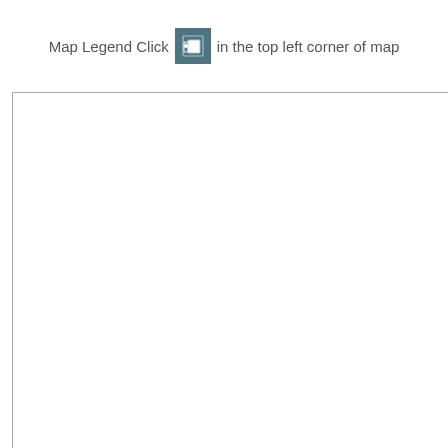Map Legend Click [icon] in the top left corner of map
[Figure (other): A large white rectangular area representing a map frame with grey border on top and left sides.]